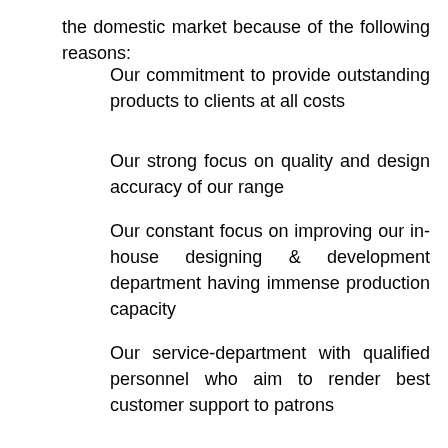the domestic market because of the following reasons:
Our commitment to provide outstanding products to clients at all costs
Our strong focus on quality and design accuracy of our range
Our constant focus on improving our in-house designing & development department having immense production capacity
Our service-department with qualified personnel who aim to render best customer support to patrons
Warehousing
We know this fact well that beside quality production and adoption of customer focused business practices, meeting urgent demands of customers is also